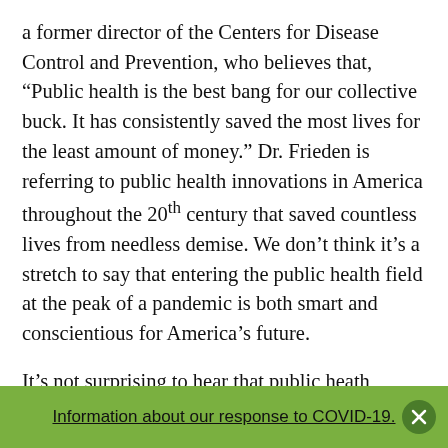a former director of the Centers for Disease Control and Prevention, who believes that, “Public health is the best bang for our collective buck. It has consistently saved the most lives for the least amount of money.” Dr. Frieden is referring to public health innovations in America throughout the 20th century that saved countless lives from needless demise. We don’t think it’s a stretch to say that entering the public health field at the peak of a pandemic is both smart and conscientious for America’s future.
It’s not surprising to hear that public heath director employment rates are rising, but the rapid growth and future outlook is still somewhat shocking. The average national employment rate for all jobs is
Information about our response to COVID-19.